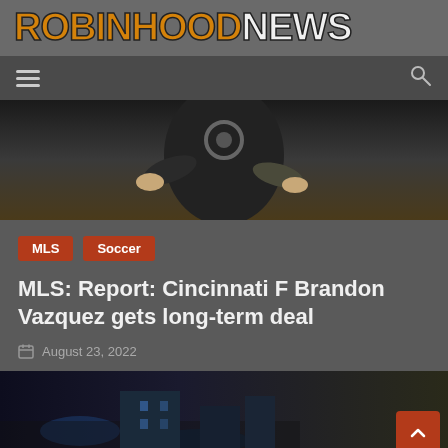ROBINHOODNEWS
[Figure (photo): Navigation bar with hamburger menu icon on left and search icon on right, dark background]
[Figure (photo): Hero image showing a soccer player in dark uniform, cropped view of torso and hands]
MLS  Soccer
MLS: Report: Cincinnati F Brandon Vazquez gets long-term deal
August 23, 2022
[Figure (photo): Bottom image showing a dark nighttime sports venue scene with blue lighting]